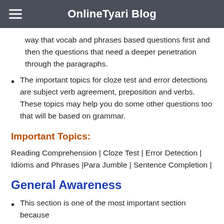OnlineTyari Blog
way that vocab and phrases based questions first and then the questions that need a deeper penetration through the paragraphs.
The important topics for cloze test and error detections are subject verb agreement, preposition and verbs. These topics may help you do some other questions too that will be based on grammar.
Important Topics:
Reading Comprehension | Cloze Test | Error Detection | Idioms and Phrases |Para Jumble | Sentence Completion |
General Awareness
This section is one of the most important section because